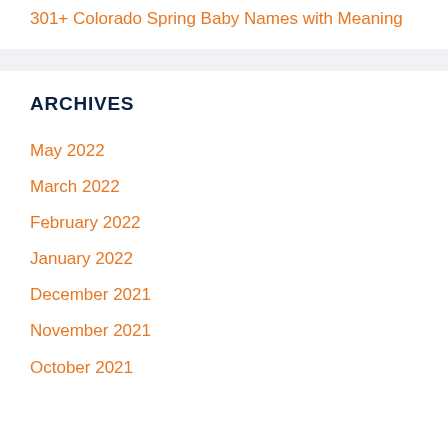301+ Colorado Spring Baby Names with Meaning
ARCHIVES
May 2022
March 2022
February 2022
January 2022
December 2021
November 2021
October 2021